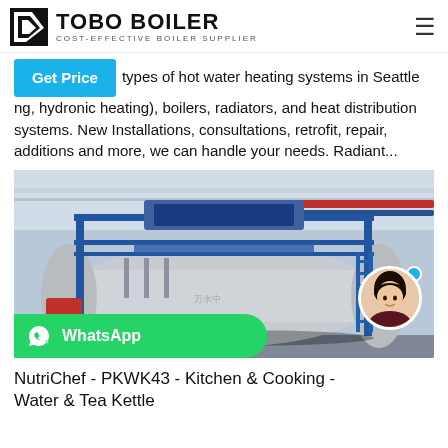TOBO BOILER — COST-EFFECTIVE BOILER SUPPLIER
types of hot water heating systems in Seattle ng, hydronic heating), boilers, radiators, and heat distribution systems. New Installations, consultations, retrofit, repair, additions and more, we can handle your needs. Radiant...
[Figure (photo): Industrial boiler system with blue steel frame scaffolding, large cylindrical tank, red and blue pipes, in a factory/warehouse setting. WhatsApp chat button overlaid at bottom-left, with a female customer service avatar at bottom-right.]
NutriChef - PKWK43 - Kitchen & Cooking - Water & Tea Kettle